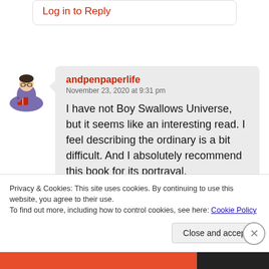Log in to Reply
andpenpaperlife
November 23, 2020 at 9:31 pm
I have not Boy Swallows Universe, but it seems like an interesting read. I feel describing the ordinary is a bit difficult. And I absolutely recommend this book for its portrayal.
Privacy & Cookies: This site uses cookies. By continuing to use this website, you agree to their use.
To find out more, including how to control cookies, see here: Cookie Policy
Close and accept